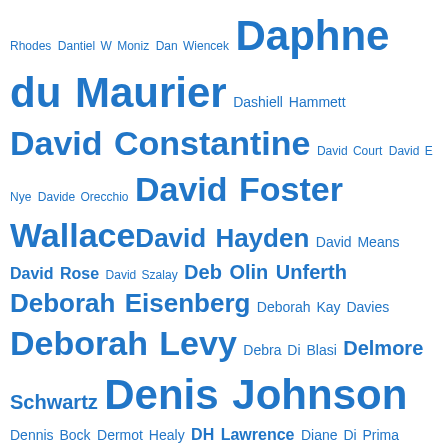[Figure (infographic): Word cloud of author names in blue, with font size indicating frequency/prominence. Names include Daphne du Maurier, David Constantine, David Foster Wallace, David Hayden, Deborah Levy, Denis Johnson, Diane Williams, Donald Barthelme, Doris Lessing, Dylan Thomas, Edgar Allan Poe, Edna O'Brien, Edward P Jones, Edwidge Danticat and many others.]